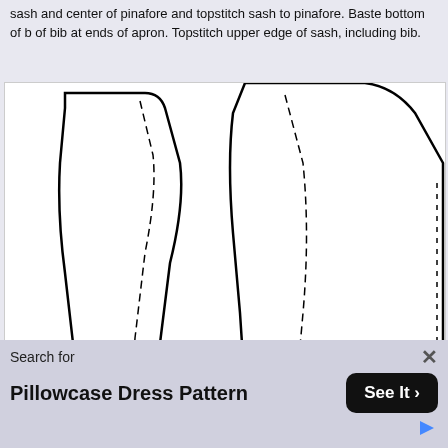sash and center of pinafore and topstitch sash to pinafore. Baste bottom of b of bib at ends of apron. Topstitch upper edge of sash, including bib.
[Figure (illustration): Sewing pattern pieces for 'Organdy Bib' (cut two, place on fold, Alice Pinafore) and 'Back Bodice' (cut two), shown with dashed seam lines.]
Search for
Pillowcase Dress Pattern
See It >